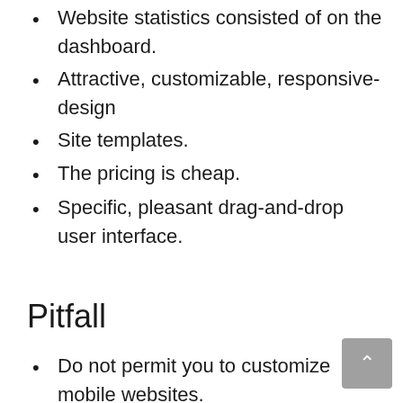Website statistics consisted of on the dashboard.
Attractive, customizable, responsive-design
Site templates.
The pricing is cheap.
Specific, pleasant drag-and-drop user interface.
Pitfall
Do not permit you to customize mobile websites.
No image modifying tools.